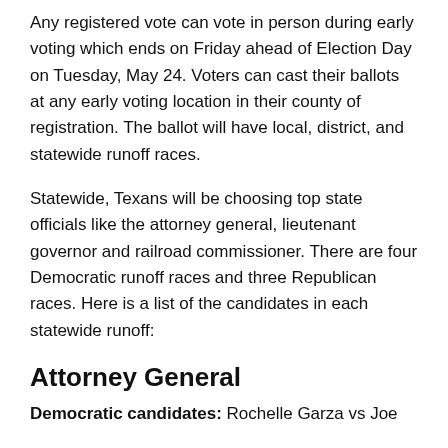Any registered vote can vote in person during early voting which ends on Friday ahead of Election Day on Tuesday, May 24. Voters can cast their ballots at any early voting location in their county of registration. The ballot will have local, district, and statewide runoff races.
Statewide, Texans will be choosing top state officials like the attorney general, lieutenant governor and railroad commissioner. There are four Democratic runoff races and three Republican races. Here is a list of the candidates in each statewide runoff:
Attorney General
Democratic candidates: Rochelle Garza vs Joe [continues]